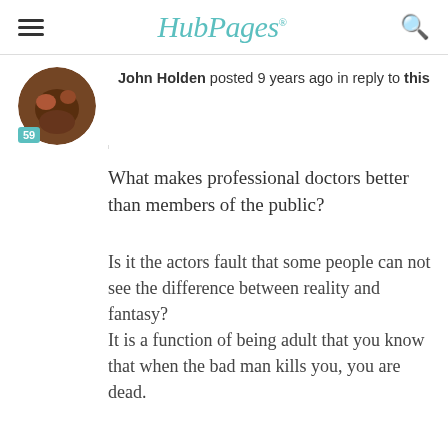HubPages
[Figure (photo): User avatar photo of John Holden, circular cropped, with a teal badge showing '59']
John Holden posted 9 years ago in reply to this
What makes professional doctors better than members of the public?
Is it the actors fault that some people can not see the difference between reality and fantasy?
It is a function of being adult that you know that when the bad man kills you, you are dead.